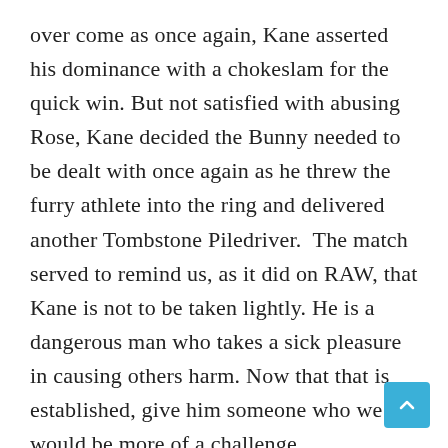over come as once again, Kane asserted his dominance with a chokeslam for the quick win. But not satisfied with abusing Rose, Kane decided the Bunny needed to be dealt with once again as he threw the furry athlete into the ring and delivered another Tombstone Piledriver.  The match served to remind us, as it did on RAW, that Kane is not to be taken lightly. He is a dangerous man who takes a sick pleasure in causing others harm. Now that that is established, give him someone who we would be more of a challenge.